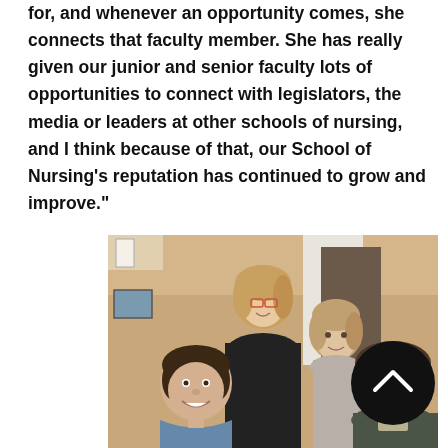for, and whenever an opportunity comes, she connects that faculty member. She has really given our junior and senior faculty lots of opportunities to connect with legislators, the media or leaders at other schools of nursing, and I think because of that, our School of Nursing's reputation has continued to grow and improve."
[Figure (photo): Group photo of four people posing together indoors, smiling. One person's face is obscured by a black circle with a caret symbol. The setting appears to be a home or event venue with warm tan/brown walls and white trim.]